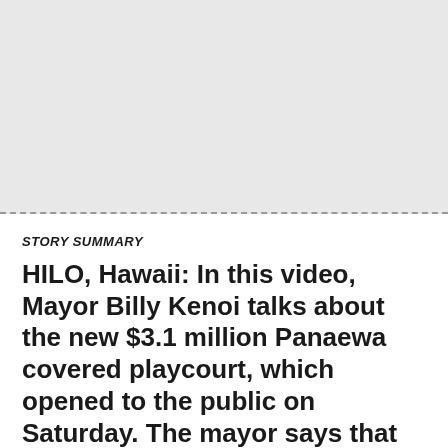STORY SUMMARY
HILO, Hawaii: In this video, Mayor Billy Kenoi talks about the new $3.1 million Panaewa covered playcourt, which opened to the public on Saturday. The mayor says that although the administration was criticized for the project, Hawaii County